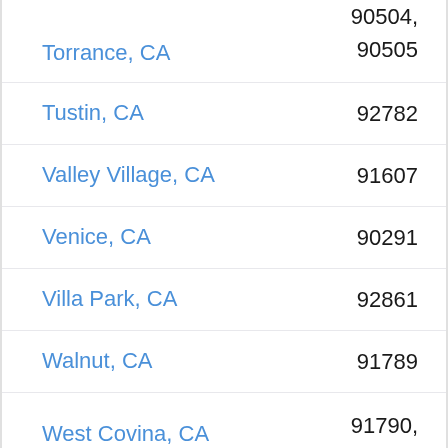Torrance, CA — 90504, 90505
Tustin, CA — 92782
Valley Village, CA — 91607
Venice, CA — 90291
Villa Park, CA — 92861
Walnut, CA — 91789
West Covina, CA — 91790, 91791, 91792